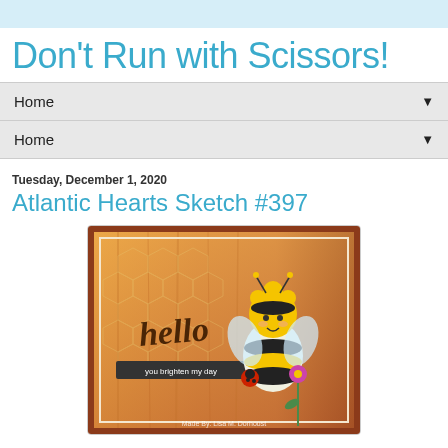Don't Run with Scissors!
Home ▼
Home ▼
Tuesday, December 1, 2020
Atlantic Hearts Sketch #397
[Figure (photo): A handmade greeting card with a honeycomb background in orange/wood tones. A cute baby bee character in a yellow and black striped costume holds a ladybug and a flower. The word 'hello' is written in script, with a banner below reading 'you brighten my day'.]